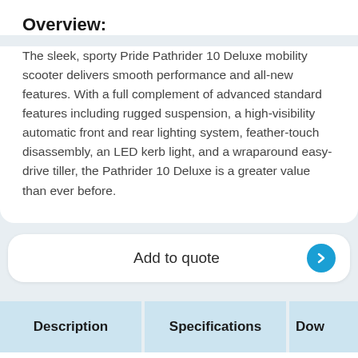Overview:
The sleek, sporty Pride Pathrider 10 Deluxe mobility scooter delivers smooth performance and all-new features. With a full complement of advanced standard features including rugged suspension, a high-visibility automatic front and rear lighting system, feather-touch disassembly, an LED kerb light, and a wraparound easy-drive tiller, the Pathrider 10 Deluxe is a greater value than ever before.
Add to quote
| Description | Specifications | Dow |
| --- | --- | --- |